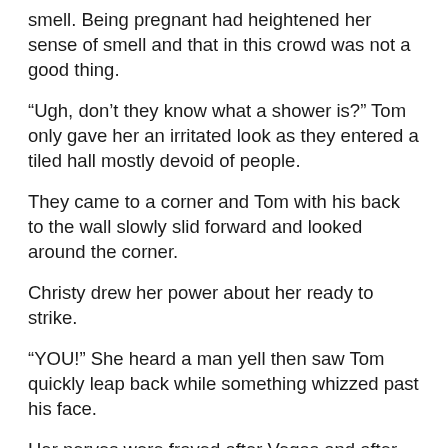smell. Being pregnant had heightened her sense of smell and that in this crowd was not a good thing.
“Ugh, don’t they know what a shower is?” Tom only gave her an irritated look as they entered a tiled hall mostly devoid of people.
They came to a corner and Tom with his back to the wall slowly slid forward and looked around the corner.
Christy drew her power about her ready to strike.
“YOU!” She heard a man yell then saw Tom quickly leap back while something whizzed past his face.
Her nerves were frayed after Vegas and after having Tom lead her through Hell’s sweaty armpit that he called a comic con.
“Hell with this!” She strode about the corner her hands out stretched towards the large red haired man at the end of the hall. She let both spells loose at once. The first a silence spell, the second a binding spell. Both spells took effect in